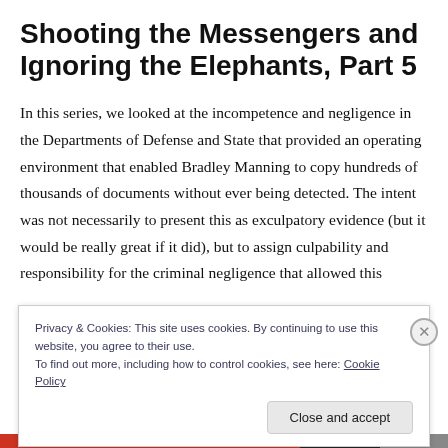Shooting the Messengers and Ignoring the Elephants, Part 5
In this series, we looked at the incompetence and negligence in the Departments of Defense and State that provided an operating environment that enabled Bradley Manning to copy hundreds of thousands of documents without ever being detected. The intent was not necessarily to present this as exculpatory evidence (but it would be really great if it did), but to assign culpability and responsibility for the criminal negligence that allowed this
Privacy & Cookies: This site uses cookies. By continuing to use this website, you agree to their use.
To find out more, including how to control cookies, see here: Cookie Policy